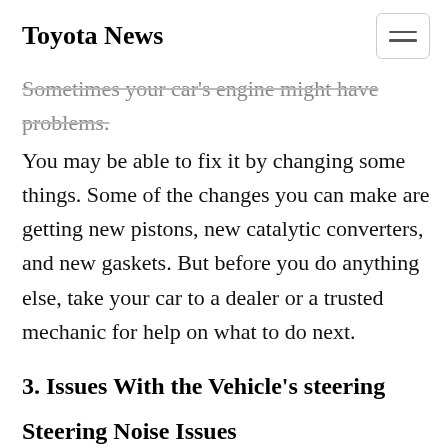Toyota News
Sometimes your car's engine might have problems. You may be able to fix it by changing some things. Some of the changes you can make are getting new pistons, new catalytic converters, and new gaskets. But before you do anything else, take your car to a dealer or a trusted mechanic for help on what to do next.
3. Issues With the Vehicle's steering
Steering Noise Issues